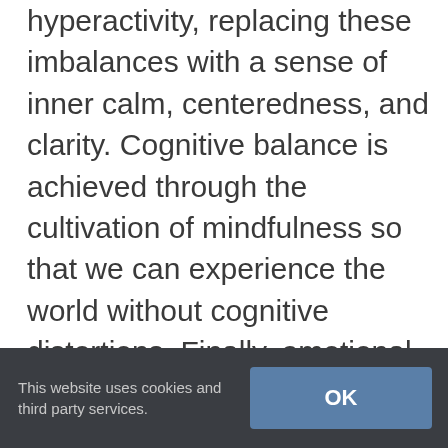hyperactivity, replacing these imbalances with a sense of inner calm, centeredness, and clarity. Cognitive balance is achieved through the cultivation of mindfulness so that we can experience the world without cognitive distortions. Finally, emotional balance maybe achieved through enhancing the positive emotions of loving kindness, compassion, empathetic joy and equanimity while bringing afflictive emotional states under control through understanding and meditation. The weekend included
This website uses cookies and third party services.
OK